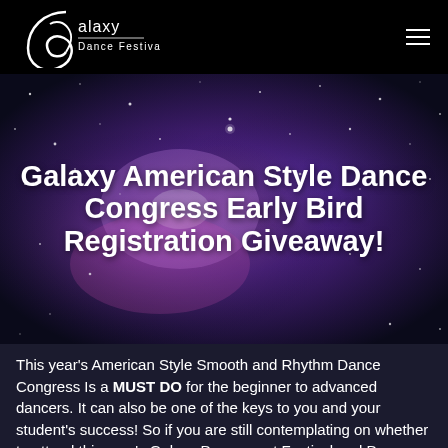[Figure (logo): Galaxy Dance Festival logo — stylized swirling G shape in white with text 'Galaxy Dance Festival' in white on black background]
[Figure (photo): Deep space/galaxy nebula background image — purple, blue, and pink tones with stars scattered throughout]
Galaxy American Style Dance Congress Early Bird Registration Giveaway!
This year's American Style Smooth and Rhythm Dance Congress Is a MUST DO for the beginner to advanced dancers. It can also be one of the keys to you and your student's success! So if you are still contemplating on whether to attend this year's Galaxy Dancesport Festival and Dance Congress, let us help you and your students